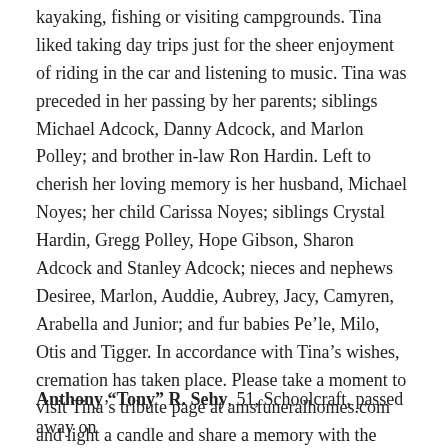kayaking, fishing or visiting campgrounds. Tina liked taking day trips just for the sheer enjoyment of riding in the car and listening to music. Tina was preceded in her passing by her parents; siblings Michael Adcock, Danny Adcock, and Marlon Polley; and brother in-law Ron Hardin. Left to cherish her loving memory is her husband, Michael Noyes; her child Carissa Noyes; siblings Crystal Hardin, Gregg Polley, Hope Gibson, Sharon Adcock and Stanley Adcock; nieces and nephews Desiree, Marlon, Auddie, Aubrey, Jacy, Camyren, Arabella and Junior; and fur babies Pe’le, Milo, Otis and Tigger. In accordance with Tina’s wishes, cremation has taken place. Please take a moment to visit Tina’s tribute page at amsfuneralhomes.com and light a candle and share a memory with the family. The Noyes family is being assisted by Avink, McCowen & Secord Funeral Homes, Vicksburg.
Anthony “Tony” R. Sehy, 51, Schoolcraft, passed away on